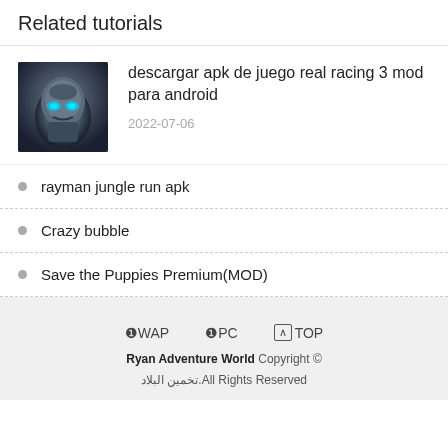Related tutorials
[Figure (photo): Thumbnail image of a robotic/armored character from the game Real Racing 3]
descargar apk de juego real racing 3 mod para android
2022-07-06
rayman jungle run apk
Crazy bubble
Save the Puppies Premium(MOD)
❶WAP  ❶PC  ∧TOP
Ryan Adventure World Copyright © تخمين البلاد.All Rights Reserved